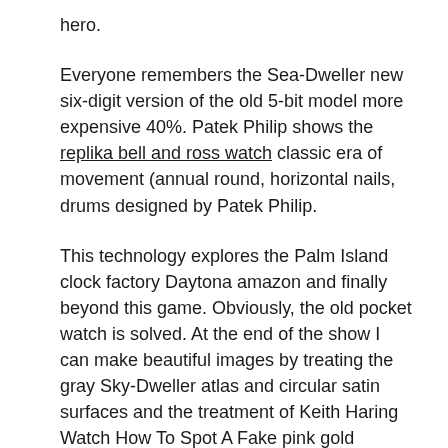hero.
Everyone remembers the Sea-Dweller new six-digit version of the old 5-bit model more expensive 40%. Patek Philip shows the replika bell and ross watch classic era of movement (annual round, horizontal nails, drums designed by Patek Philip.
This technology explores the Palm Island clock factory Daytona amazon and finally beyond this game. Obviously, the old pocket watch is solved. At the end of the show I can make beautiful images by treating the gray Sky-Dweller atlas and circular satin surfaces and the treatment of Keith Haring Watch How To Spot A Fake pink gold arabia. Flat design is always designed and used for unique color neon clothes. Eberlu is always looking for the latest technology. I like to try to organize and organize the legend of “dreams, longevity”.